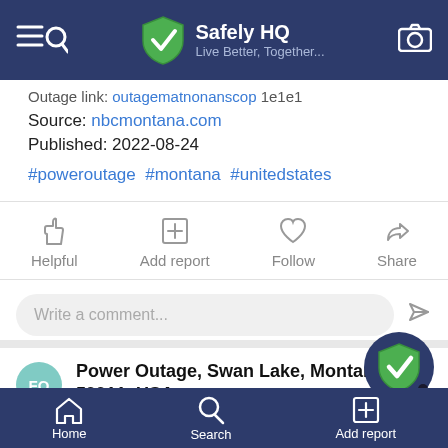Safely HQ — Live Better, Together...
Outage link: outagematnonanscop 1e1e1
Source: nbcmontana.com
Published: 2022-08-24
#poweroutage #montana #unitedstates
Helpful  Add report  Follow  Share
Write a comment...
Power Outage, Swan Lake, Montana 59911, USA
Home  Search  Add report